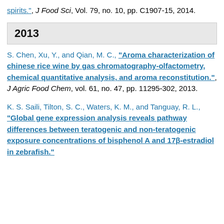spirits.", J Food Sci, Vol. 79, no. 10, pp. C1907-15, 2014.
2013
S. Chen, Xu, Y., and Qian, M. C., “Aroma characterization of chinese rice wine by gas chromatography-olfactometry, chemical quantitative analysis, and aroma reconstitution.”, J Agric Food Chem, vol. 61, no. 47, pp. 11295-302, 2013.
K. S. Saili, Tilton, S. C., Waters, K. M., and Tanguay, R. L., “Global gene expression analysis reveals pathway differences between teratogenic and non-teratogenic exposure concentrations of bisphenol A and 17β-estradiol in zebrafish.”